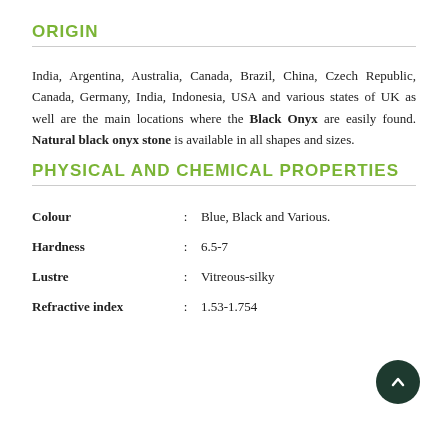ORIGIN
India, Argentina, Australia, Canada, Brazil, China, Czech Republic, Canada, Germany, India, Indonesia, USA and various states of UK as well are the main locations where the Black Onyx are easily found. Natural black onyx stone is available in all shapes and sizes.
PHYSICAL AND CHEMICAL PROPERTIES
| Property | : | Value |
| --- | --- | --- |
| Colour | : | Blue, Black and Various. |
| Hardness | : | 6.5-7 |
| Lustre | : | Vitreous-silky |
| Refractive index | : | 1.53-1.754 |